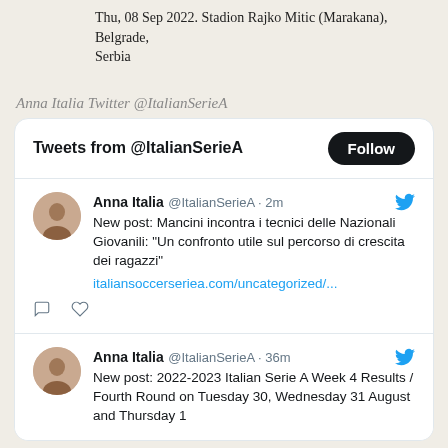Thu, 08 Sep 2022. Stadion Rajko Mitic (Marakana), Belgrade, Serbia
Anna Italia Twitter @ItalianSerieA
[Figure (screenshot): Twitter widget showing tweets from @ItalianSerieA. First tweet by Anna Italia @ItalianSerieA 2m ago: 'New post: Mancini incontra i tecnici delle Nazionali Giovanili: "Un confronto utile sul percorso di crescita dei ragazzi" italiansoccerseriea.com/uncategorized/...'. Second tweet by Anna Italia @ItalianSerieA 36m ago: 'New post: 2022-2023 Italian Serie A Week 4 Results / Fourth Round on Tuesday 30, Wednesday 31 August and Thursday 1...']